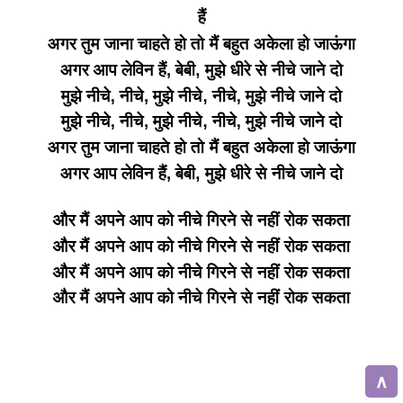हैं
अगर तुम जाना चाहते हो तो मैं बहुत अकेला हो जाऊंगा
अगर आप लेविन हैं, बेबी, मुझे धीरे से नीचे जाने दो
मुझे नीचे, नीचे, मुझे नीचे, नीचे, मुझे नीचे जाने दो
मुझे नीचे, नीचे, मुझे नीचे, नीचे, मुझे नीचे जाने दो
अगर तुम जाना चाहते हो तो मैं बहुत अकेला हो जाऊंगा
अगर आप लेविन हैं, बेबी, मुझे धीरे से नीचे जाने दो
और मैं अपने आप को नीचे गिरने से नहीं रोक सकता
और मैं अपने आप को नीचे गिरने से नहीं रोक सकता
और मैं अपने आप को नीचे गिरने से नहीं रोक सकता
और मैं अपने आप को नीचे गिरने से नहीं रोक सकता